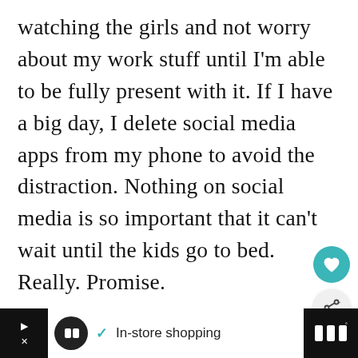watching the girls and not worry about my work stuff until I'm able to be fully present with it. If I have a big day, I delete social media apps from my phone to avoid the distraction. Nothing on social media is so important that it can't wait until the kids go to bed. Really. Promise.
[Figure (illustration): Teal circular heart/favorite button]
[Figure (illustration): Gray circular share button with share icon]
[Figure (photo): What's Next card with thumbnail photo and text: How to Craft a Compelling...]
[Figure (screenshot): Advertisement bar at bottom: In-store shopping]